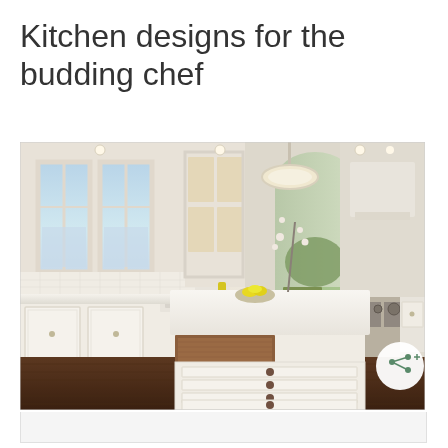Kitchen designs for the budding chef
[Figure (photo): Large bright white kitchen with white cabinets, farmhouse sink, large island with white marble countertop and a butcher block extension, dark hardwood floors, pendant chandelier, arched doorway to living area, and a professional range. A bowl of lemons sits on the island. Windows overlook a waterway.]